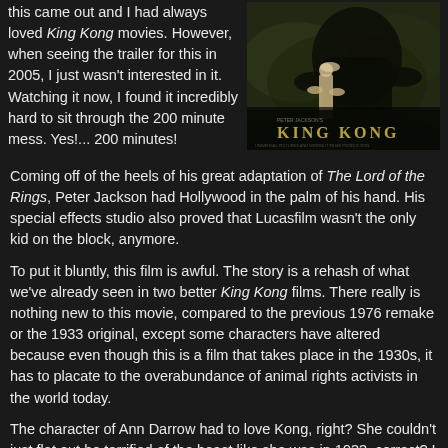this came out and I had always loved King Kong movies. However, when seeing the trailer for this in 2005, I just wasn't interested in it. Watching it now, I found it incredibly hard to sit through the 200 minute mess. Yes!... 200 minutes!
[Figure (photo): King Kong 2005 movie poster showing a woman walking in front of a large gorilla in a jungle/rocky setting, with the title 'KING KONG' displayed at the bottom]
Coming off of the heels of his great adaptation of The Lord of the Rings, Peter Jackson had Hollywood in the palm of his hand. His special effects studio also proved that Lucasfilm wasn't the only kid on the block, anymore.
To put it bluntly, this film is awful. The story is a rehash of what we've already seen in two better King Kong films. There really is nothing new to this movie, compared to the previous 1976 remake or the 1933 original, except some characters have altered because even though this is a film that takes place in the 1930s, it has to placate to the overabundance of animal rights activists in the world today.
The character of Ann Darrow had to love Kong, right? She couldn't just flat out be terrified of the beast like she was in 1933, correct? I mean, the most hardcore animal rights activist would be shitting their pants in the clutches of Kong. But this change in the Darrow character, I guess, somehow justified this movie being well over three hours long. Had she just screamed and Kong just